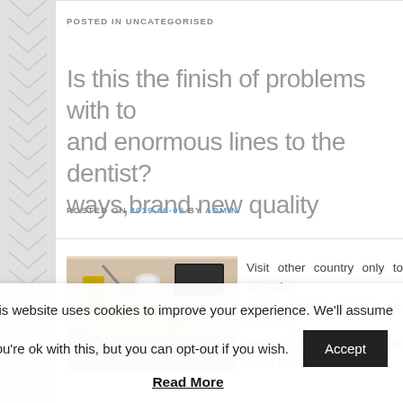POSTED IN UNCATEGORISED
Is this the finish of problems with to and enormous lines to the dentist? ways,brand new quality
POSTED ON 2019-06-09 BY ADMIN
[Figure (photo): Dental office with dental chair, equipment, and overhead light in a beige-toned room]
Visit other country only to care abo look? Dental tourism is booming foreign guests for a nice smile just
This website uses cookies to improve your experience. We'll assume you're ok with this, but you can opt-out if you wish.
Accept
Read More